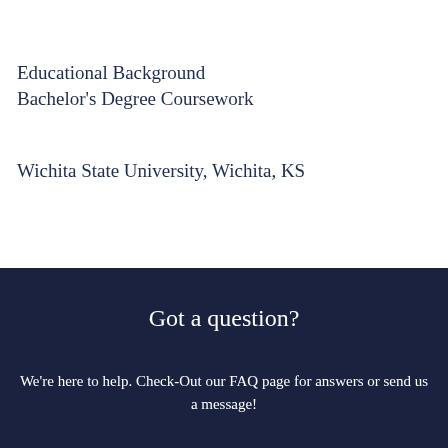Educational Background
Bachelor's Degree Coursework
Wichita State University, Wichita, KS
Got a question?
We're here to help. Check-Out our FAQ page for answers or send us a message!